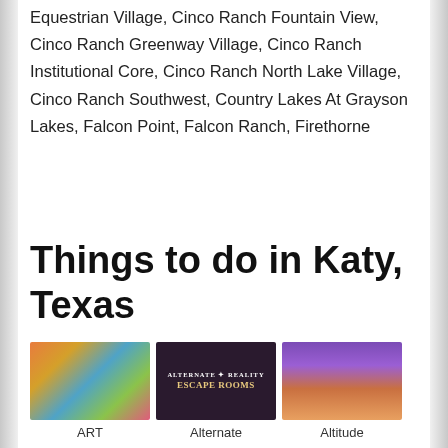Equestrian Village, Cinco Ranch Fountain View, Cinco Ranch Greenway Village, Cinco Ranch Institutional Core, Cinco Ranch North Lake Village, Cinco Ranch Southwest, Country Lakes At Grayson Lakes, Falcon Point, Falcon Ranch, Firethorne
Things to do in Katy, Texas
[Figure (photo): Three thumbnail images of Katy, Texas attractions: ART (art gallery/mural), Alternate Reality Escape Rooms (dark logo on purple background), and Altitude (trampoline park with purple and orange colors)]
ART
Alternate
Altitude